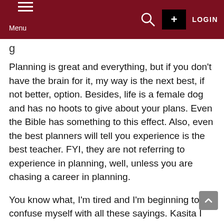Menu  LOGIN
g
Planning is great and everything, but if you don't have the brain for it, my way is the next best, if not better, option. Besides, life is a female dog and has no hoots to give about your plans. Even the Bible has something to this effect. Also, even the best planners will tell you experience is the best teacher. FYI, they are not referring to experience in planning, well, unless you are chasing a career in planning.
You know what, I'm tired and I'm beginning to confuse myself with all these sayings. Kasita I have started. Let me go back to my 12-hour working day and when I eventually get some shuteye, hopefully I'll dream u...